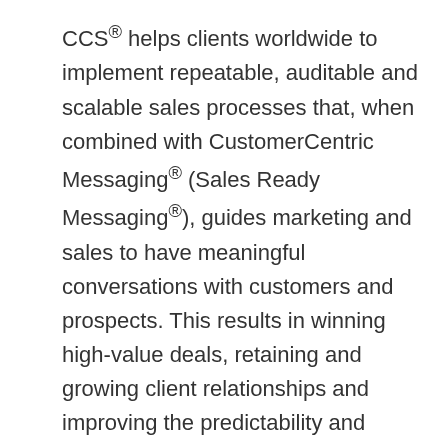CCS® helps clients worldwide to implement repeatable, auditable and scalable sales processes that, when combined with CustomerCentric Messaging® (Sales Ready Messaging®), guides marketing and sales to have meaningful conversations with customers and prospects. This results in winning high-value deals, retaining and growing client relationships and improving the predictability and accuracy of sales forecasts.
CustomerCentric Selling® has been named to Training Industry's list of Top Sales Methodology Training Companies for seven consecutive years. Stay connected to CustomerCentric Selling® via Twitter, LinkedIn, Facebook, Google+, Vimeo and YouTube. For more information,